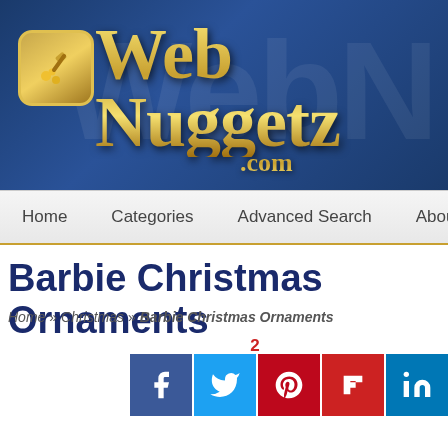[Figure (logo): WebNuggetz.com website header banner with gold logo text on dark blue gradient background and hammer/nugget icon]
Home   Categories   Advanced Search   About WebNugg...
Barbie Christmas Ornaments
Home » Christmas » Barbie Christmas Ornaments
[Figure (infographic): Social share buttons: Facebook, Twitter, Pinterest, Flipboard, LinkedIn, Share — with count of 2 shares above Pinterest button and total '2 Shares' to the right]